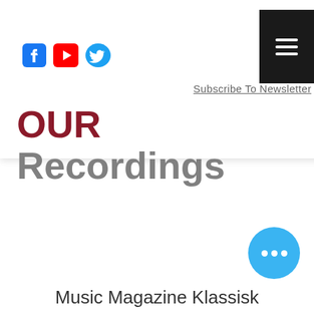OUR Recordings
Subscribe To Newsletter
OUR Recordings
Music Magazine Klassisk